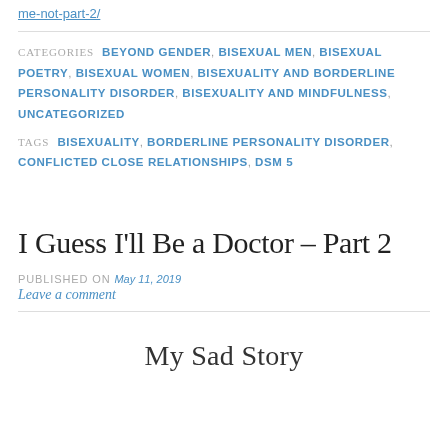me-not-part-2/
CATEGORIES  BEYOND GENDER, BISEXUAL MEN, BISEXUAL POETRY, BISEXUAL WOMEN, BISEXUALITY AND BORDERLINE PERSONALITY DISORDER, BISEXUALITY AND MINDFULNESS, UNCATEGORIZED
TAGS  BISEXUALITY, BORDERLINE PERSONALITY DISORDER, CONFLICTED CLOSE RELATIONSHIPS, DSM 5
I Guess I'll Be a Doctor – Part 2
PUBLISHED ON May 11, 2019
Leave a comment
My Sad Story